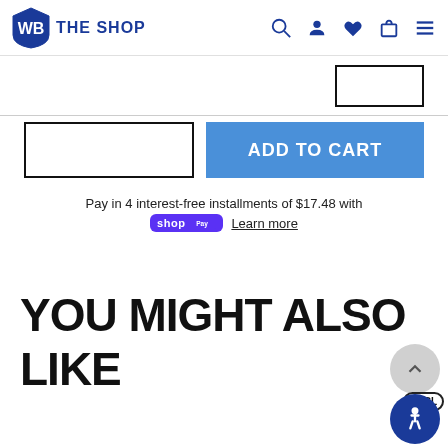WB THE SHOP
[Figure (screenshot): Partially visible quantity input box and button at top]
[Figure (screenshot): Quantity input box (empty, outlined in black) beside blue ADD TO CART button]
Pay in 4 interest-free installments of $17.48 with
shop Pay  Learn more
YOU MIGHT ALSO LIKE
[Figure (screenshot): Scroll-to-top circular button and EXCL badge and accessibility icon in bottom right]